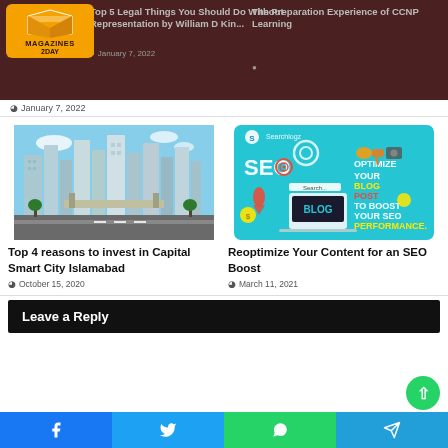Top 5 Legal Things You Should Do Without Representation by William D King | January 7, 2022
The Preparation Experience of CCNP Learning
[Figure (logo): Magazines 2day logo with orange book icon]
[Figure (photo): Aerial view of Capital Smart City Islamabad with tall modern buildings and highway]
Top 4 reasons to invest in Capital Smart City Islamabad
October 15, 2020
[Figure (infographic): SEO blog optimization graphic with teal background showing BLOG laptop, SEO gear, and text: OPTIMIZE YOUR BLOG POST TO BOOST YOUR SEO PERFORMANCE.]
Reoptimize Your Content for an SEO Boost
March 11, 2021
Leave a Reply